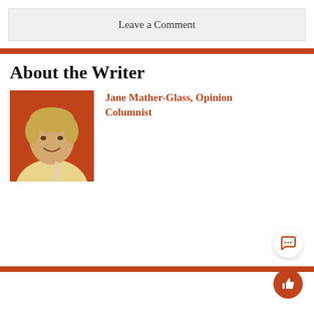Leave a Comment
About the Writer
[Figure (photo): Photo of Jane Mather-Glass, a young woman with short blonde hair, smiling, wearing a light yellow top, against an orange/rust-colored wall background.]
Jane Mather-Glass, Opinion Columnist